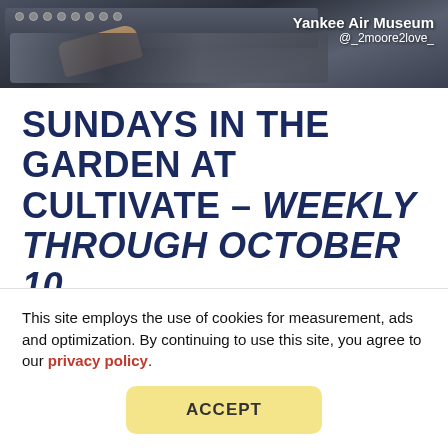[Figure (photo): Photo of aircraft cockpit controls with a person's hand visible, overlaid with 'Yankee Air Museum' text and '@_2moore2love_' handle in the top right corner]
SUNDAYS IN THE GARDEN AT CULTIVATE – WEEKLY THROUGH OCTOBER 10
Relax outdoors at Cultivate Coffee and Tap House's beer garden/patio for live music featuring different artists weekly. Grab your favorite coffee, tea, or specialty soda drink, or check the menu for libations and craft brews to sip
This site employs the use of cookies for measurement, ads and optimization. By continuing to use this site, you agree to our privacy policy.
ACCEPT